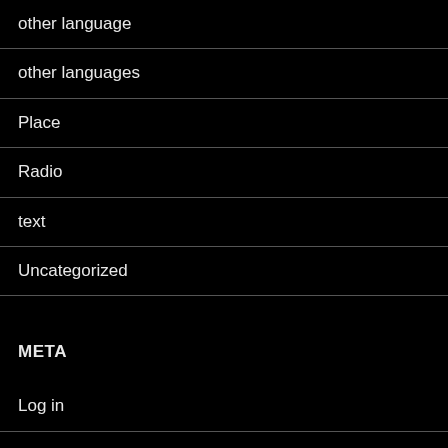other language
other languages
Place
Radio
text
Uncategorized
META
Log in
Entries feed
Comments feed
WordPress.org